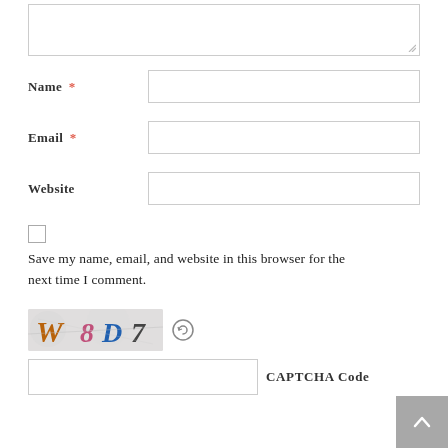[Figure (other): Textarea input field with resize handle at bottom right]
Name *
[Figure (other): Name text input field]
Email *
[Figure (other): Email text input field]
Website
[Figure (other): Website text input field]
[Figure (other): Unchecked checkbox]
Save my name, email, and website in this browser for the next time I comment.
[Figure (other): CAPTCHA image showing distorted text 'W8D7' with a refresh icon]
[Figure (other): CAPTCHA code text input field with label 'CAPTCHA Code']
[Figure (other): Scroll to top button (grey square with upward arrow)]